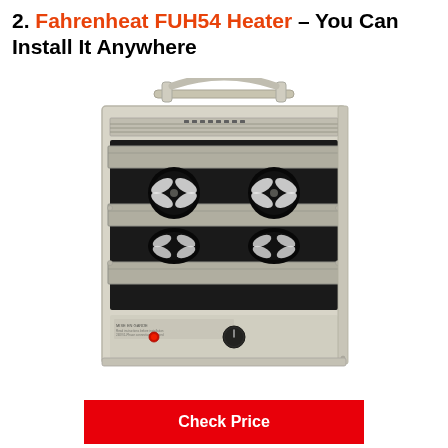2. Fahrenheat FUH54 Heater – You Can Install It Anywhere
[Figure (photo): Front view of a Fahrenheat FUH54 industrial wall/ceiling heater unit in beige/tan color, showing louver vents, fan blades visible through grille, a red indicator light, a thermostat dial, and a ceiling-mount bracket on top.]
Check Price